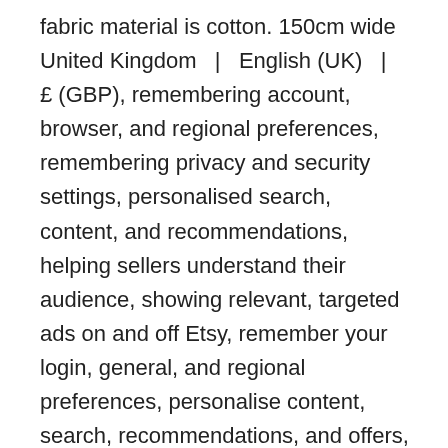fabric material is cotton. 150cm wide  United Kingdom  |  English (UK)  |  £ (GBP), remembering account, browser, and regional preferences, remembering privacy and security settings, personalised search, content, and recommendations, helping sellers understand their audience, showing relevant, targeted ads on and off Etsy, remember your login, general, and regional preferences, personalise content, search, recommendations, and offers, to ensure that sellers understand their audience and can provide relevant ads. Women's - EDT For Her. Etsy uses cookies and similar technologies to give you a better experience, enabling things like: Detailed information can be found in Etsy's Cookies & Similar Technologies Policy and our Privacy Policy. Many of the prints feature different prints on each side of the fabric, adding visual interest and eliminating the need for lining. Only 1 left. Click & Collect . Read our Cookie Policy. From shop SoftMoodBoutique. 7%. It is printed on with floral colourful design. Women's - EDT For Her. Ready Quilted Fabric Material Padded Pre Quilted Covers UK. Some of the technologies we use are necessary for critical